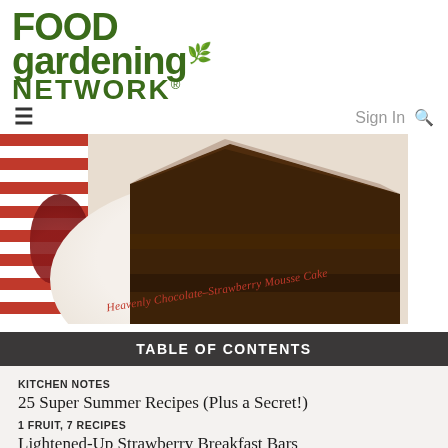[Figure (logo): Food Gardening Network logo in dark green bold text with a leaf accent on the letter g in gardening and a registered trademark symbol after NETWORK]
≡   Sign In 🔍
[Figure (photo): Close-up of a slice of Heavenly Chocolate-Strawberry Mousse Cake on a white plate with a red and white striped napkin, with the cake name written in red italic text on the plate]
TABLE OF CONTENTS
KITCHEN NOTES
25 Super Summer Recipes (Plus a Secret!)
1 FRUIT, 7 RECIPES
Lightened-Up Strawberry Breakfast Bars
Classy Ice Strawberry Shortcake